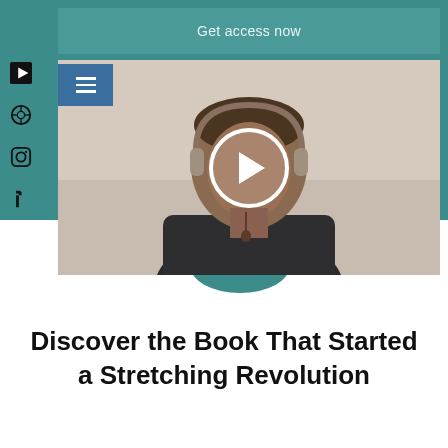Get access now
[Figure (screenshot): Video thumbnail showing a man in a dark shirt with a play button overlay in the center]
Discover the Book That Started a Stretching Revolution